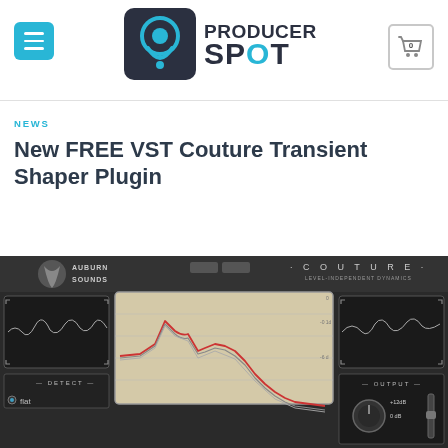[Figure (logo): Producer Spot logo with circular map pin icon and text PRODUCER SPOT]
NEWS
New FREE VST Couture Transient Shaper Plugin
[Figure (screenshot): Auburn Sounds Couture Level-Independent Dynamics plugin interface showing waveform displays, a central envelope graph with red and grey lines, Detect section, and Output section on dark background]